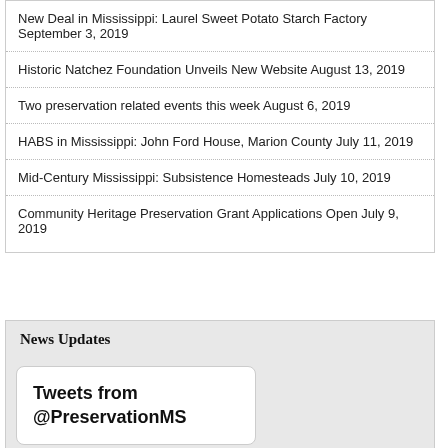New Deal in Mississippi: Laurel Sweet Potato Starch Factory September 3, 2019
Historic Natchez Foundation Unveils New Website August 13, 2019
Two preservation related events this week August 6, 2019
HABS in Mississippi: John Ford House, Marion County July 11, 2019
Mid-Century Mississippi: Subsistence Homesteads July 10, 2019
Community Heritage Preservation Grant Applications Open July 9, 2019
News Updates
Tweets from @PreservationMS